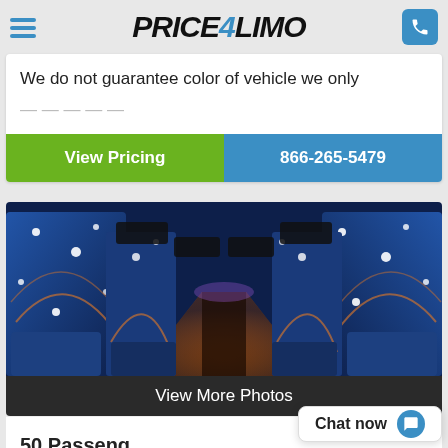PRICE4LIMO
We do not guarantee color of vehicle we only
View Pricing
866-265-5479
[Figure (photo): Interior of a luxury party bus with blue upholstered seats featuring celestial/star patterns, aisle view toward the front]
View More Photos
50 Passeng
Chat now